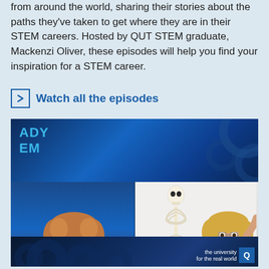from around the world, sharing their stories about the paths they've taken to get where they are in their STEM careers. Hosted by QUT STEM graduate, Mackenzi Oliver, these episodes will help you find your inspiration for a STEM career.
Watch all the episodes
[Figure (photo): Video thumbnail showing a QUT STEM careers video. Top section shows the 'ALREADY STEM' title card with blue abstract background. Middle section shows two video call panels: left panel shows a young woman with curly red/blonde hair smiling, right panel shows a blonde woman waving next to a skeleton model. Bottom has dark blue bar with 'the university for the real world' text and QUT logo.]